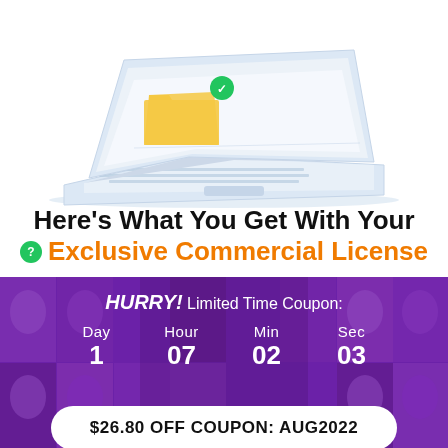[Figure (illustration): Isometric illustration of a laptop computer with a yellow/orange folder on screen and green icon, rendered in light blue/grey colors]
Here’s What You Get With Your Exclusive Commercial License
[Figure (infographic): Purple banner with blurred faces background showing countdown timer: HURRY! Limited Time Coupon: Day 1, Hour 07, Min 02, Sec 03]
$26.80 OFF COUPON: AUG2022